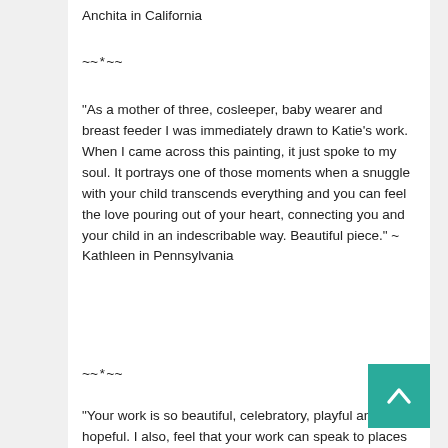Anchita in California
~~*~~
“As a mother of three, cosleeper, baby wearer and breast feeder I was immediately drawn to Katie’s work. When I came across this painting, it just spoke to my soul. It portrays one of those moments when a snuggle with your child transcends everything and you can feel the love pouring out of your heart, connecting you and your child in an indescribable way. Beautiful piece.” ~ Kathleen in Pennsylvania
~~*~~
“Your work is so beautiful, celebratory, playful and hopeful. I also, feel that your work can speak to places of sorrow, places needing comfort or reminders of lives – either now grown beyond newborn or even lives gone but cherished completely.” ~ Laurie in Illinois